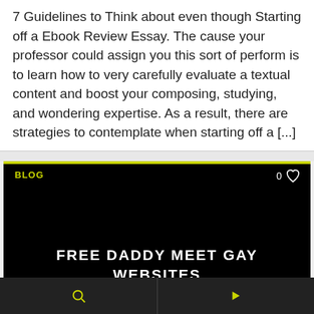7 Guidelines to Think about even though Starting off a Ebook Review Essay. The cause your professor could assign you this sort of perform is to learn how to very carefully evaluate a textual content and boost your composing, studying, and wondering expertise. As a result, there are strategies to contemplate when starting off a [...]
[Figure (screenshot): Blog card with black background, yellow-green top bar, BLOG label in yellow-green, heart icon with 0 count, and centered white bold title text: FREE DADDY MEET GAY WEBSITES]